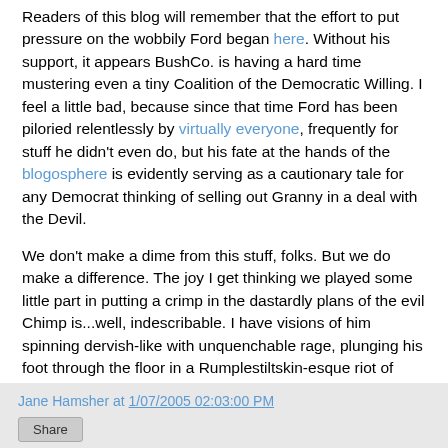Readers of this blog will remember that the effort to put pressure on the wobbily Ford began here. Without his support, it appears BushCo. is having a hard time mustering even a tiny Coalition of the Democratic Willing. I feel a little bad, because since that time Ford has been piloried relentlessly by virtually everyone, frequently for stuff he didn't even do, but his fate at the hands of the blogosphere is evidently serving as a cautionary tale for any Democrat thinking of selling out Granny in a deal with the Devil.
We don't make a dime from this stuff, folks. But we do make a difference. The joy I get thinking we played some little part in putting a crimp in the dastardly plans of the evil Chimp is...well, indescribable. I have visions of him spinning dervish-like with unquenchable rage, plunging his foot through the floor in a Rumplestiltskin-esque riot of temper...
Okay. Time to lay off the Mountain Dew.
Jane Hamsher at 1/07/2005 02:03:00 PM